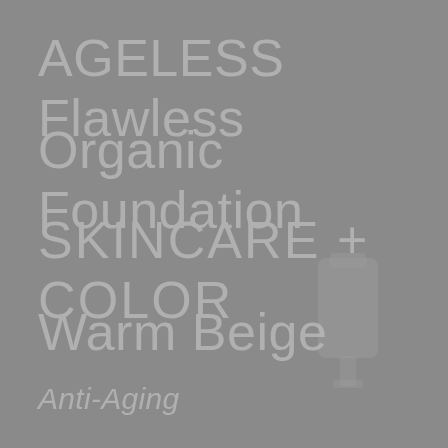AGELESS Flawless
Organic Foundation
SKINCARE + COLOR
Warm Beige
Anti-Aging
[Figure (photo): Product bottle/container image shown faintly in lower right area of page]